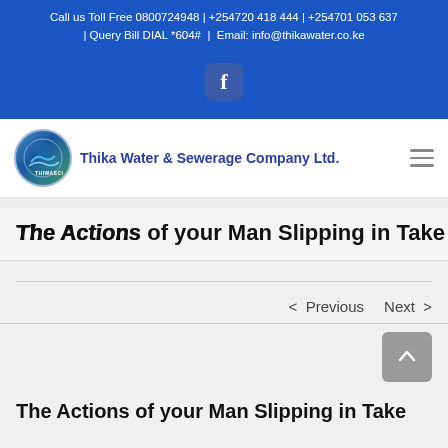Call us Toll Free 0800724948 | +254720 418 444 | +254701 053 637 | Query Bill DIAL *604# | Email: info@thikawater.co.ke
[Figure (logo): Facebook icon in blue rounded square on blue background bar]
[Figure (logo): Thika Water & Sewerage Company Ltd. logo with circular emblem and company name]
The Actions of your Man Slipping in Take
< Previous   Next >
[Figure (other): Scroll to top button (grey rounded square with upward chevron arrow)]
The Actions of your Man Slipping in Take